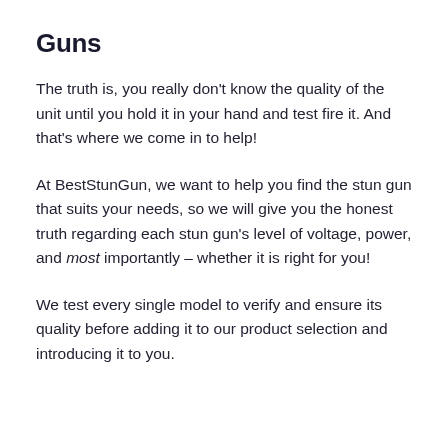Guns
The truth is, you really don't know the quality of the unit until you hold it in your hand and test fire it. And that's where we come in to help!
At BestStunGun, we want to help you find the stun gun that suits your needs, so we will give you the honest truth regarding each stun gun's level of voltage, power, and most importantly – whether it is right for you!
We test every single model to verify and ensure its quality before adding it to our product selection and introducing it to you.